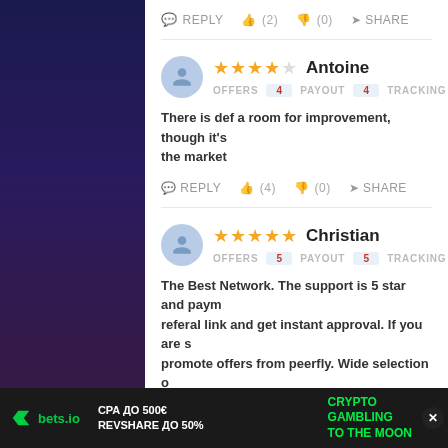REPLY (2) (0) SHARE
Antoine — 4 stars — OFFERS 4 PAYOUT 4 TRACKING 5 — There is def a room for improvement, though it's the market — REPLY (4) (0) SHARE
Christian — 5 stars — OFFERS 5 PAYOUT 5 TRACKING 5 — The Best Network. The support is 5 star and paym... referal link and get instant approval. If you are s... promote offers from peerfly. Wide selection o...
[Figure (screenshot): Bottom advertisement bar for bets.io: CPA ДО 500€ REVSHARE ДО 50% | CRYPTO GAMBLING TO THE MOON]